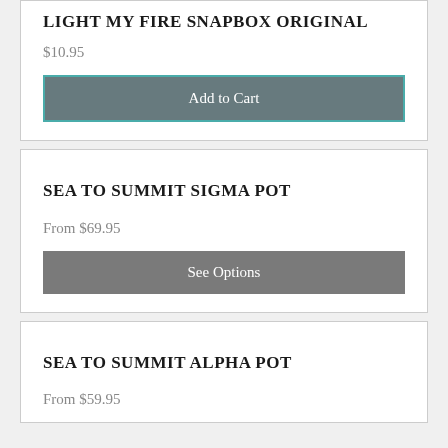LIGHT MY FIRE SNAPBOX ORIGINAL
$10.95
Add to Cart
SEA TO SUMMIT SIGMA POT
From $69.95
See Options
SEA TO SUMMIT ALPHA POT
From $59.95